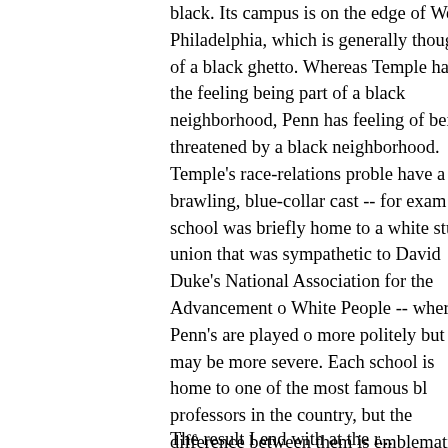black. Its campus is on the edge of West Philadelphia, which is generally thought of a black ghetto. Whereas Temple has the feeling being part of a black neighborhood, Penn has feeling of being threatened by a black neighborhood. Temple's race-relations problems have a brawling, blue-collar cast -- for example the school was briefly home to a white student union that was sympathetic to David Duke's National Association for the Advancement of White People -- whereas Penn's are played out more politely but may be more severe. Each school is home to one of the most famous black professors in the country, but the difference between them is emblematic: Penn's black superstar is Houston Baker Jr., an English professor who, in addition to being the founder and head of Penn's Center for the Study of Black Literature and Culture, is the current president of the leading mainstream organization in his field, the Modern Language Association. Temple's is Molefi Asante, the leader of the Afrocentrist movement, who is revered within his discipline and generally scorned outside it.
The result I end with at the r...